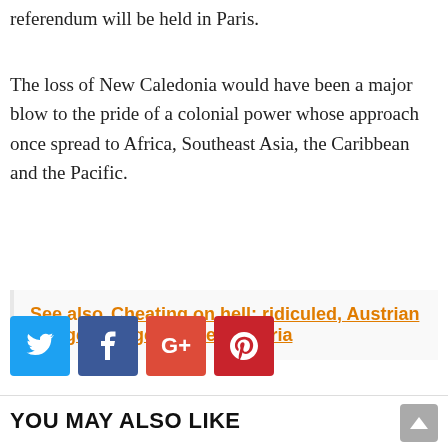referendum will be held in Paris.
The loss of New Caledonia would have been a major blow to the pride of a colonial power whose approach once spread to Africa, Southeast Asia, the Caribbean and the Pacific.
See also  Cheating on hell: ridiculed, Austrian village changes name | Austria
[Figure (other): Social sharing buttons: Twitter (blue), Facebook (dark blue), Google+ (red), Pinterest (dark red)]
YOU MAY ALSO LIKE